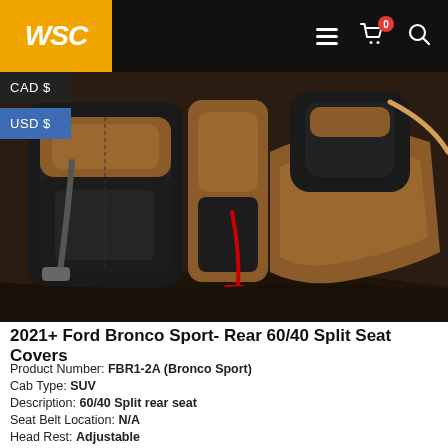WSC — Navigation header with logo, hamburger menu, cart (0), and search icon
[Figure (photo): Interior photo of a 2021+ Ford Bronco Sport rear seat area showing brown/tan and black leather 60/40 split seat covers with seat belts visible]
2021+ Ford Bronco Sport- Rear 60/40 Split Seat Covers
Product Number: FBR1-2A (Bronco Sport)
Cab Type: SUV
Description: 60/40 Split rear seat
Seat Belt Location: N/A
Head Rest: Adjustable